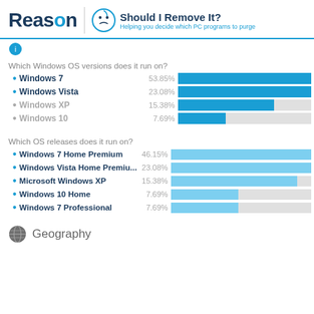Reason | Should I Remove It? Helping you decide which PC programs to purge
Which Windows OS versions does it run on?
[Figure (bar-chart): Which Windows OS versions does it run on?]
Which OS releases does it run on?
[Figure (bar-chart): Which OS releases does it run on?]
Geography